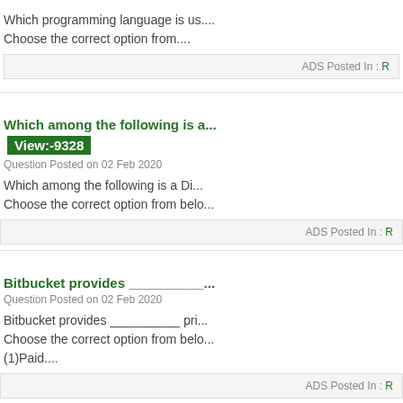Which programming language is us... Choose the correct option from....
ADS Posted In : R
Which among the following is a...
View:-9328
Question Posted on 02 Feb 2020
Which among the following is a Di... Choose the correct option from belo...
ADS Posted In : R
Bitbucket provides __________
Question Posted on 02 Feb 2020
Bitbucket provides __________ pri... Choose the correct option from belo... (1)Paid....
ADS Posted In : R